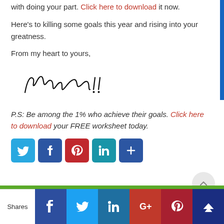with doing your part. Click here to download it now.
Here's to killing some goals this year and rising into your greatness.
From my heart to yours,
[Figure (other): Handwritten signature reading 'Makeda !!']
P.S: Be among the 1% who achieve their goals. Click here to download your FREE worksheet today.
[Figure (other): Social share buttons: Twitter, Facebook, Pinterest, LinkedIn, More]
[Figure (other): Scroll to top button]
[Figure (other): Bottom share bar with Shares label and Facebook, Twitter, LinkedIn, Google+, Pinterest, Crown icons]